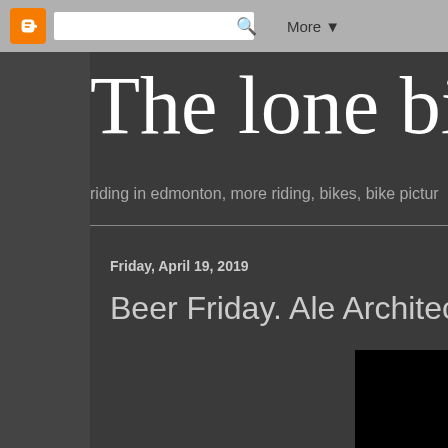Blogger navigation bar with search and More button
The lone biker
riding in edmonton, more riding, bikes, bike pictur
Friday, April 19, 2019
Beer Friday. Ale Architect, Charleston
[Figure (photo): Dark/black photo area below the post title]